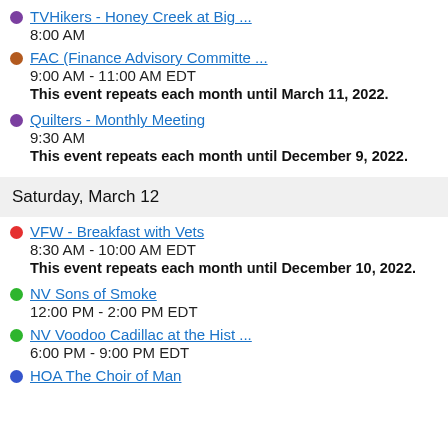TVHikers - Honey Creek at Big ...
8:00 AM
FAC (Finance Advisory Committe ...
9:00 AM - 11:00 AM EDT
This event repeats each month until March 11, 2022.
Quilters - Monthly Meeting
9:30 AM
This event repeats each month until December 9, 2022.
Saturday, March 12
VFW - Breakfast with Vets
8:30 AM - 10:00 AM EDT
This event repeats each month until December 10, 2022.
NV Sons of Smoke
12:00 PM - 2:00 PM EDT
NV Voodoo Cadillac at the Hist ...
6:00 PM - 9:00 PM EDT
HOA The Choir of Man